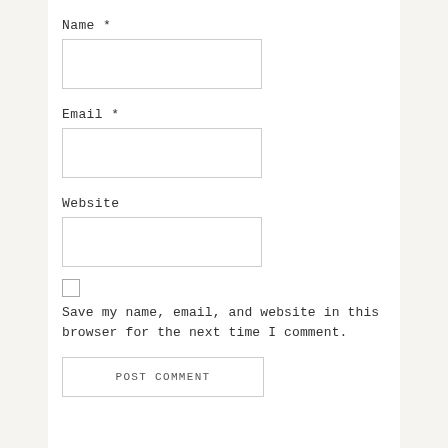Name *
[Figure (other): Name text input field (empty)]
Email *
[Figure (other): Email text input field (empty)]
Website
[Figure (other): Website text input field (empty)]
Save my name, email, and website in this browser for the next time I comment.
[Figure (other): POST COMMENT button]